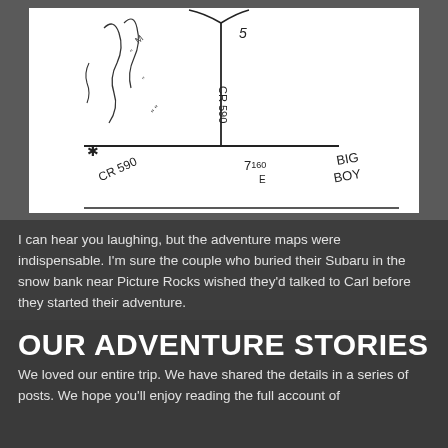[Figure (illustration): A hand-drawn sketch map showing roads labeled CR 590 and CR 590, with a Y-intersection, numbers like 5 and 7160, and text reading BIG BOY]
I can hear you laughing, but the adventure maps were indispensable. I'm sure the couple who buried their Subaru in the snow bank near Picture Rocks wished they'd talked to Carl before they started their adventure.
OUR ADVENTURE STORIES
We loved our entire trip. We have shared the details in a series of posts. We hope you'll enjoy reading the full account of